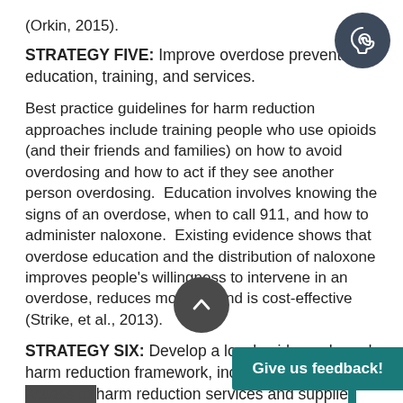(Orkin, 2015).
STRATEGY FIVE: Improve overdose prevention education, training, and services.
Best practice guidelines for harm reduction approaches include training people who use opioids (and their friends and families) on how to avoid overdosing and how to act if they see another person overdosing. Education involves knowing the signs of an overdose, when to call 911, and how to administer naloxone. Existing evidence shows that overdose education and the distribution of naloxone improves people’s willingness to intervene in an overdose, reduces mortality and is cost-effective (Strike, et al., 2013).
STRATEGY SIX: Develop a local evidence-based harm reduction framework, including increased access to harm reduction services and supplies